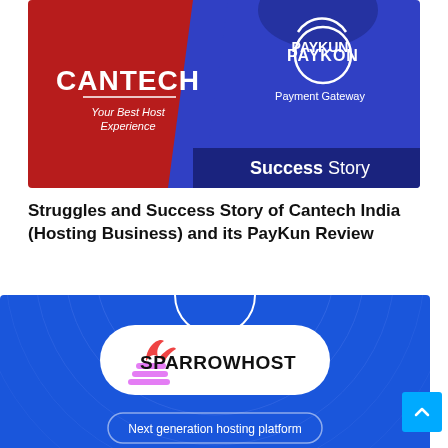[Figure (illustration): Promotional banner for Cantech India hosting company and PayKun Payment Gateway Success Story. Red and blue split design with CANTECH logo on red background and PayKun logo on blue background, with 'Your Best Host Experience' tagline and 'Success Story' text on dark navy banner at bottom.]
Struggles and Success Story of Cantech India (Hosting Business) and its PayKun Review
[Figure (illustration): Promotional banner for SparrowHost on a blue background with curved line decorations. Shows the SparrowHost logo (red bird/flame icon with stacked lines) in a white pill-shaped container. Below shows 'Next generation hosting platform' in a pill-shaped outline, and large white bold text 'SparrowHost &' at the bottom.]